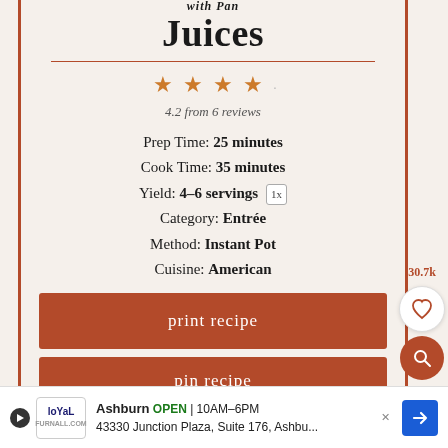Juices
4.2 from 6 reviews
Prep Time: 25 minutes
Cook Time: 35 minutes
Yield: 4–6 servings 1x
Category: Entrée
Method: Instant Pot
Cuisine: American
print recipe
pin recipe
30.7k
Ashburn OPEN | 10AM–6PM
43330 Junction Plaza, Suite 176, Ashbu...